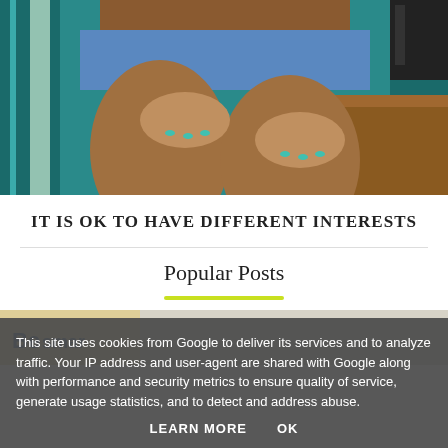[Figure (photo): Close-up photo of a person wearing blue shorts, sitting with hands resting on thighs, teal/green background with a wooden desk visible on the right]
IT IS OK TO HAVE DIFFERENT INTERESTS
Popular Posts
[Figure (photo): Partially visible thumbnail image showing text 'Be smart' with yellow background]
This site uses cookies from Google to deliver its services and to analyze traffic. Your IP address and user-agent are shared with Google along with performance and security metrics to ensure quality of service, generate usage statistics, and to detect and address abuse.
LEARN MORE   OK